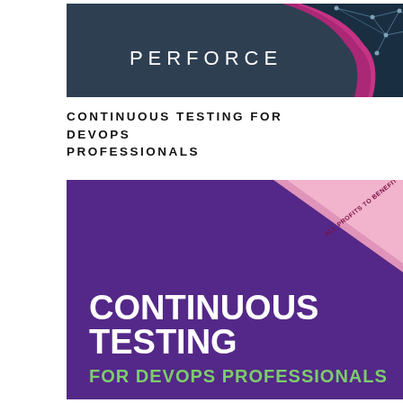[Figure (illustration): Perforce book cover with dark blue/navy background, pink/magenta diagonal wave and network graph pattern in upper right, white text 'PERFORCE' centered lower left area]
CONTINUOUS TESTING FOR DEVOPS PROFESSIONALS
[Figure (illustration): Book cover for 'Continuous Testing for DevOps Professionals' with purple background, pink diagonal banner in upper right reading 'ALL PROFITS TO BENEFIT COLLEGE', bold white text 'CONTINUOUS TESTING' and green text 'FOR DEVOPS PROFESSIONALS']